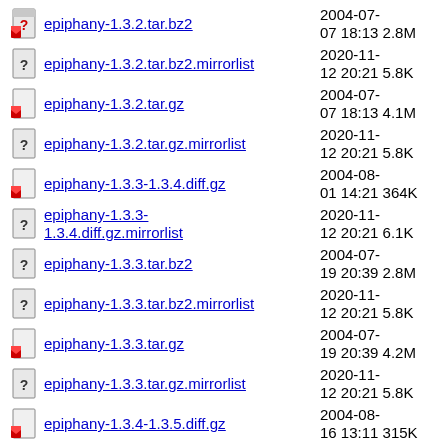epiphany-1.3.2.tar.bz2  2004-07-07 18:13  2.8M
epiphany-1.3.2.tar.bz2.mirrorlist  2020-11-12 20:21  5.8K
epiphany-1.3.2.tar.gz  2004-07-07 18:13  4.1M
epiphany-1.3.2.tar.gz.mirrorlist  2020-11-12 20:21  5.8K
epiphany-1.3.3-1.3.4.diff.gz  2004-08-01 14:21  364K
epiphany-1.3.3-1.3.4.diff.gz.mirrorlist  2020-11-12 20:21  6.1K
epiphany-1.3.3.tar.bz2  2004-07-19 20:39  2.8M
epiphany-1.3.3.tar.bz2.mirrorlist  2020-11-12 20:21  5.8K
epiphany-1.3.3.tar.gz  2004-07-19 20:39  4.2M
epiphany-1.3.3.tar.gz.mirrorlist  2020-11-12 20:21  5.8K
epiphany-1.3.4-1.3.5.diff.gz  2004-08-16 13:11  315K
epiphany-1.3.4-  2020-11-